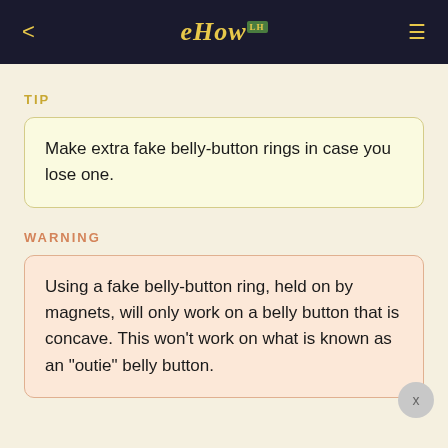eHow
TIP
Make extra fake belly-button rings in case you lose one.
WARNING
Using a fake belly-button ring, held on by magnets, will only work on a belly button that is concave. This won't work on what is known as an "outie" belly button.